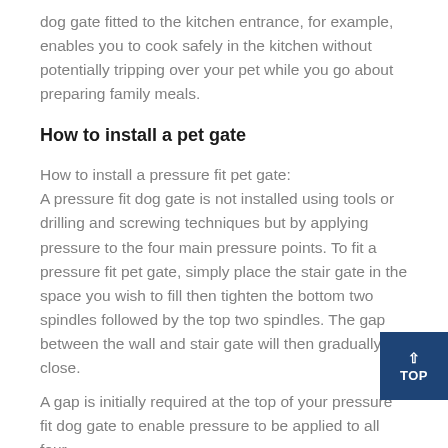dog gate fitted to the kitchen entrance, for example, enables you to cook safely in the kitchen without potentially tripping over your pet while you go about preparing family meals.
How to install a pet gate
How to install a pressure fit pet gate: A pressure fit dog gate is not installed using tools or drilling and screwing techniques but by applying pressure to the four main pressure points. To fit a pressure fit pet gate, simply place the stair gate in the space you wish to fill then tighten the bottom two spindles followed by the top two spindles. The gap between the wall and stair gate will then gradually close.
A gap is initially required at the top of your pressure fit dog gate to enable pressure to be applied to all four spindles. Should you require the pressure at the top of...